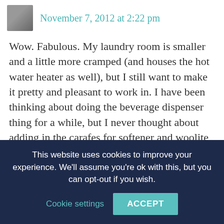November 7, 2012 at 2:22 pm
Wow. Fabulous. My laundry room is smaller and a little more cramped (and houses the hot water heater as well), but I still want to make it pretty and pleasant to work in. I have been thinking about doing the beverage dispenser thing for a while, but I never thought about adding in the carafes for softener and woolite and things like that.
This website uses cookies to improve your experience. We'll assume you're ok with this, but you can opt-out if you wish.
Cookie settings
ACCEPT